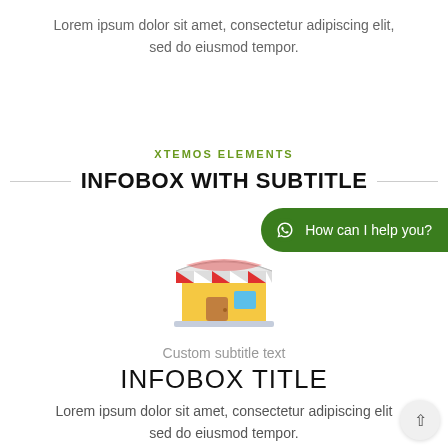Lorem ipsum dolor sit amet, consectetur adipiscing elit, sed do eiusmod tempor.
XTEMOS ELEMENTS
INFOBOX WITH SUBTITLE
[Figure (illustration): A flat-style illustration of a store/shop building with a red and white striped awning, yellow walls, a brown door, and a blue window.]
How can I help you?
Custom subtitle text
INFOBOX TITLE
Lorem ipsum dolor sit amet, consectetur adipiscing elit, sed do eiusmod tempor.